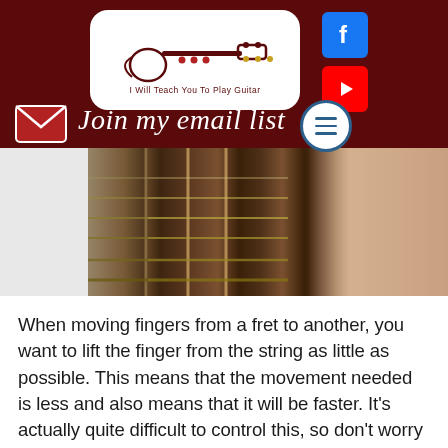[Figure (screenshot): Website header for 'I Will Teach You To Play Guitar' with dark red background, logo, Facebook icon, YouTube icon, hamburger menu, email envelope icon, and 'Join my email list' cursive text]
[Figure (photo): Close-up photograph of guitar strings and fretboard with a hand visible at right edge]
When moving fingers from a fret to another, you want to lift the finger from the string as little as possible. This means that the movement needed is less and also means that it will be faster. It's actually quite difficult to control this, so don't worry too much about it at this stage, but do not forget is, as you will have to train yourself to do this better.